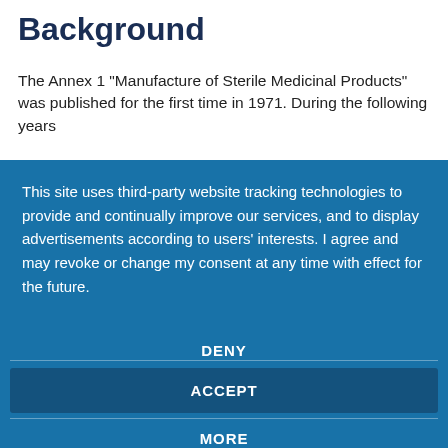Background
The Annex 1 “Manufacture of Sterile Medicinal Products” was published for the first time in 1971. During the following years
This site uses third-party website tracking technologies to provide and continually improve our services, and to display advertisements according to users' interests. I agree and may revoke or change my consent at any time with effect for the future.
DENY
ACCEPT
MORE
Powered by usercentrics & eRecht24